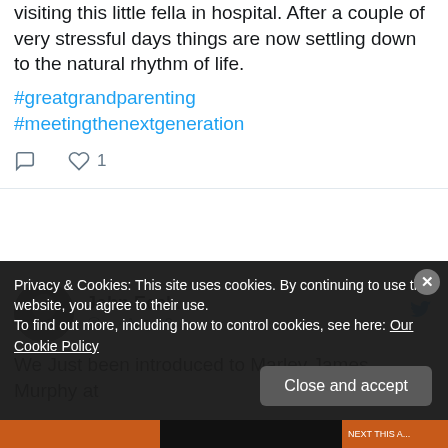visiting this little fella in hospital. After a couple of very stressful days things are now settling down to the natural rhythm of life.
#greatgrandparenting #meetingthenextgeneration
John Eccl... @... · Aug 18
We Just been introduced to Marley James Murphy at
Privacy & Cookies: This site uses cookies. By continuing to use this website, you agree to their use. To find out more, including how to control cookies, see here: Our Cookie Policy
Close and accept